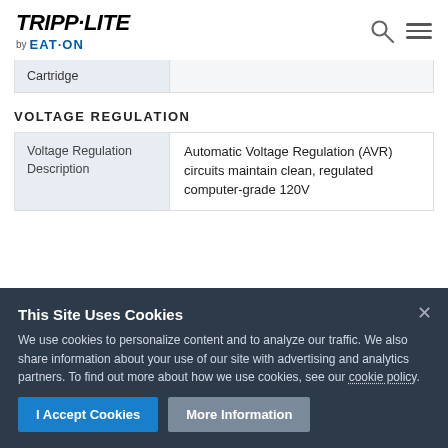[Figure (logo): Tripp-Lite by Eaton logo with search and menu icons]
|  |  |
| --- | --- |
| Cartridge |  |
VOLTAGE REGULATION
| Voltage Regulation Description |  |
| --- | --- |
| Voltage Regulation Description | Automatic Voltage Regulation (AVR) circuits maintain clean, regulated computer-grade 120V |
This Site Uses Cookies
We use cookies to personalize content and to analyze our traffic. We also share information about your use of our site with advertising and analytics partners. To find out more about how we use cookies, see our cookie policy.